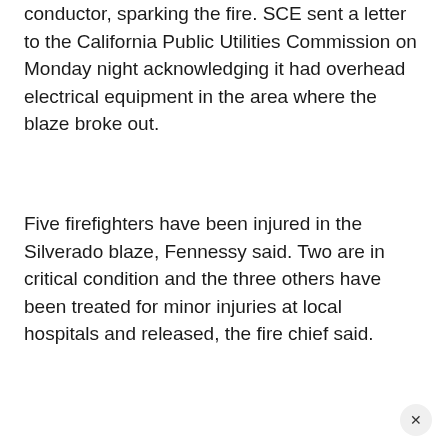conductor, sparking the fire. SCE sent a letter to the California Public Utilities Commission on Monday night acknowledging it had overhead electrical equipment in the area where the blaze broke out.
Five firefighters have been injured in the Silverado blaze, Fennessy said. Two are in critical condition and the three others have been treated for minor injuries at local hospitals and released, the fire chief said.